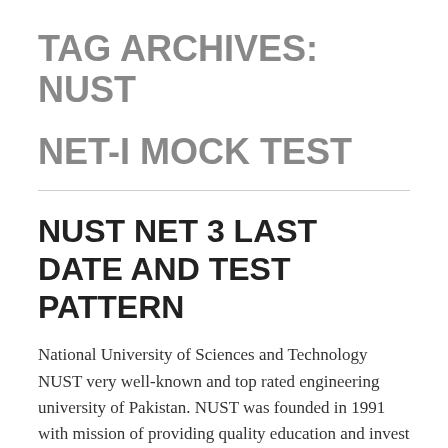TAG ARCHIVES: NUST
NET-I MOCK TEST
NUST NET 3 LAST DATE AND TEST PATTERN
National University of Sciences and Technology NUST very well-known and top rated engineering university of Pakistan. NUST was founded in 1991 with mission of providing quality education and invest in research. So far in a very short period of